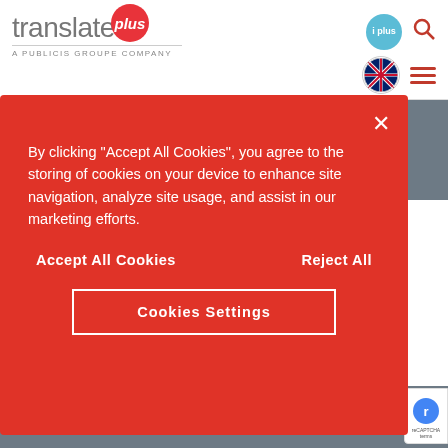[Figure (logo): Translate Plus logo with red 'plus' circle and tagline 'A Publicis Groupe Company']
By clicking "Accept All Cookies", you agree to the storing of cookies on your device to enhance site navigation, analyze site usage, and assist in our marketing efforts.
Accept All Cookies
Reject All
Cookies Settings